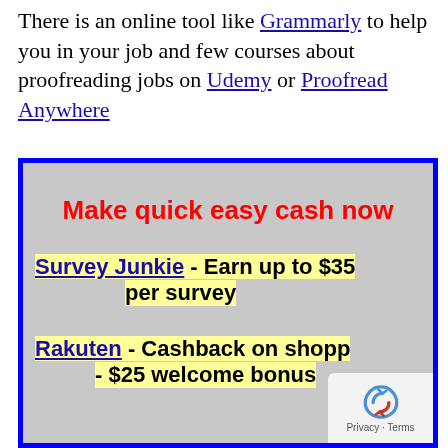There is an online tool like Grammarly to help you in your job and few courses about proofreading jobs on Udemy or Proofread Anywhere
[Figure (infographic): Promotional ad box with blue border and grey background. Contains red bold headline 'Make quick easy cash now', then yellow-highlighted text 'Survey Junkie - Earn up to $35 per survey', then yellow-highlighted text 'Rakuten - Cashback on shopping - $25 welcome bonus'.]